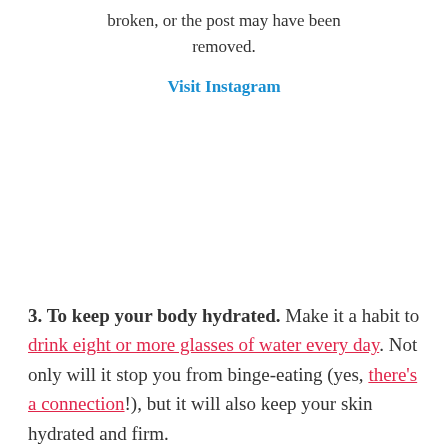broken, or the post may have been removed.
Visit Instagram
3. To keep your body hydrated. Make it a habit to drink eight or more glasses of water every day. Not only will it stop you from binge-eating (yes, there's a connection!), but it will also keep your skin hydrated and firm.